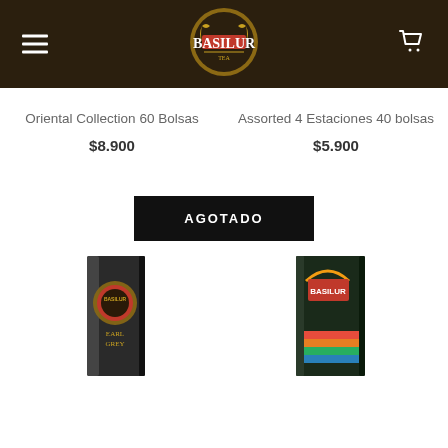[Figure (logo): Basilur Tea logo with gold crest on dark brown header bar]
Oriental Collection 60 Bolsas
$8.900
Assorted 4 Estaciones 40 bolsas
$5.900
AGOTADO
[Figure (photo): Basilur Earl Grey tea box, dark packaging with gold Basilur logo]
[Figure (photo): Basilur Assorted 4 Seasons tea box with colorful stripes and Basilur logo]